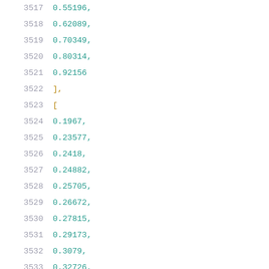3517    0.55196,
3518    0.62089,
3519    0.70349,
3520    0.80314,
3521    0.92156
3522    ],
3523    [
3524    0.1967,
3525    0.23577,
3526    0.2418,
3527    0.24882,
3528    0.25705,
3529    0.26672,
3530    0.27815,
3531    0.29173,
3532    0.3079,
3533    0.32726,
3534    0.35041,
3535    0.37804,
3536    0.41143,
3537    0.45116,
3538    0.49929,